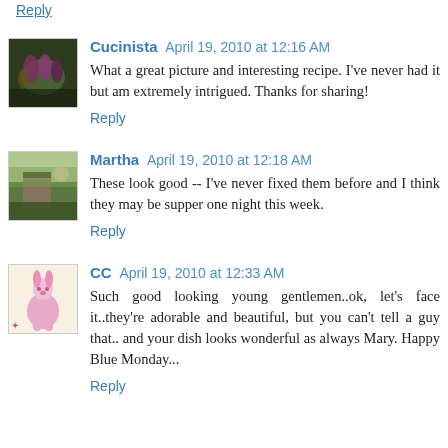Reply
Cucinista  April 19, 2010 at 12:16 AM
What a great picture and interesting recipe. I've never had it but am extremely intrigued. Thanks for sharing!
Reply
Martha  April 19, 2010 at 12:18 AM
These look good -- I've never fixed them before and I think they may be supper one night this week.
Reply
CC  April 19, 2010 at 12:33 AM
Such good looking young gentlemen..ok, let's face it..they're adorable and beautiful, but you can't tell a guy that.. and your dish looks wonderful as always Mary. Happy Blue Monday...
Reply